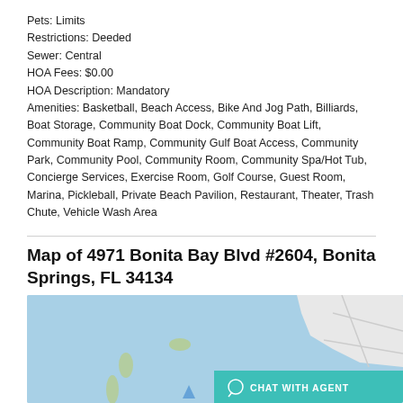Pets: Limits
Restrictions: Deeded
Sewer: Central
HOA Fees: $0.00
HOA Description: Mandatory
Amenities: Basketball, Beach Access, Bike And Jog Path, Billiards, Boat Storage, Community Boat Dock, Community Boat Lift, Community Boat Ramp, Community Gulf Boat Access, Community Park, Community Pool, Community Room, Community Spa/Hot Tub, Concierge Services, Exercise Room, Golf Course, Guest Room, Marina, Pickleball, Private Beach Pavilion, Restaurant, Theater, Trash Chute, Vehicle Wash Area
Map of 4971 Bonita Bay Blvd #2604, Bonita Springs, FL 34134
[Figure (map): Map showing the area around 4971 Bonita Bay Blvd #2604, Bonita Springs, FL 34134. Light blue water areas with green land masses visible. A teal 'Chat With Agent' button overlays the bottom right of the map.]